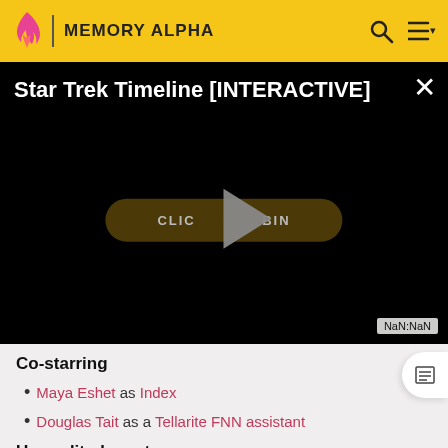MEMORY ALPHA
[Figure (screenshot): Video player embed showing 'Star Trek Timeline [INTERACTIVE]' on black background with a play button overlay and 'CLICK TO BEGIN' button. NaN:NaN timestamp shown at bottom right.]
Co-starring
Maya Eshet as Index
Douglas Tait as a Tellarite FNN assistant
Uncredited co-stars